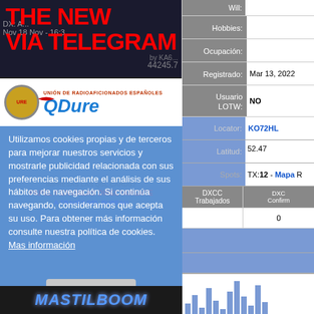[Figure (screenshot): Screenshot of a Telegram channel advertisement showing 'THE NEW VIA TELEGRAM' in red bold text over a dark radio/DX background]
[Figure (screenshot): Screenshot of URE (Unión de Radioaficionados Españoles) website with an QDure logo, overlaid by a cookie consent notice in Spanish and a blue semi-transparent overlay. Cookie text: 'Utilizamos cookies propias y de terceros para mejorar nuestros servicios y mostrarle publicidad relacionada con sus preferencias mediante el análisis de sus hábitos de navegación. Si continúa navegando, consideramos que acepta su uso. Para obtener más información consulte nuestra política de cookies. Mas información' with an Aceptar button. Background includes MASTILBOOM brand.]
| Field | Value |
| --- | --- |
| Hobbies: |  |
| Ocupación: |  |
| Registrado: | Mar 13, 2022 |
| Usuario LOTW: | NO |
| Locator: | KO72HL |
| Latitud: | 52.47 |
| Spots: | TX: 12 - Mapa |
| DXCC Trabajados | DXCC Confirmados |
|  | 0 |